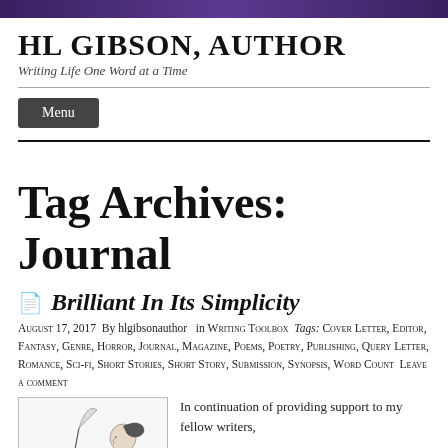HL GIBSON, AUTHOR
Writing Life One Word at a Time
Menu
Tag Archives: Journal
Brilliant In Its Simplicity
August 17, 2017  By hlgibsonauthor  in Writing Toolbox  Tags: Cover Letter, Editor, Fantasy, Genre, Horror, Journal, Magazine, Poems, Poetry, Publishing, Query Letter, Romance, Sci-fi, Short Stories, Short Story, Submission, Synopsis, Word Count  Leave a comment
[Figure (illustration): Black and white vintage illustration of a woman in profile writing with a quill pen at a desk]
In continuation of providing support to my fellow writers,